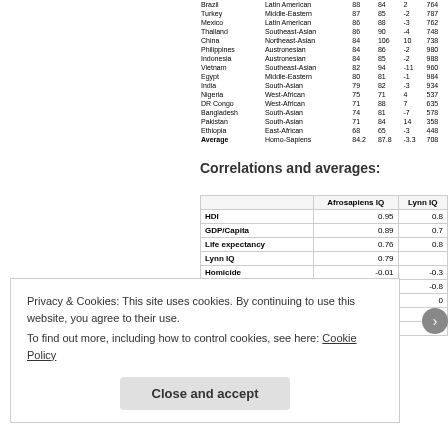|  | Region |  |  |  |  |
| --- | --- | --- | --- | --- | --- |
| Brazil | Latin American | 88 | 84 | 2 | 764 |
| Turkey | Middle-Eastern | 87 | 85 | -2 | 787 |
| Mexico | Latin American | 86 | 88 | -3 | 762 |
| Thailand | Southeast-Asian | 86 | 90 | -4 | 748 |
| China | Northeast-Asian | 84 | 106 | 10 | 738 |
| Philippines | Austronesian | 84 | 86 | -2 | 980 |
| Indonesia | Austronesian | 84 | 85 | -2 | 988 |
| Vietnam | Southeast-Asian | 82 | 94 | -11 | 960 |
| Egypt | Middle-Eastern | 80 | 81 | -1 | 984 |
| India | South-Asian | 79 | 82 | -3 | 934 |
| Nigeria | West-African | 75 | 71 | 4 | 537 |
| DR Congo | West-African | 71 | 88 | 7 | 635 |
| Bangladesh | South-Asian | 74 | 81 | -7 | 578 |
| Pakistan | South-Asian | 71 | 84 | 14 | 358 |
| Ethiopia | East-African | 68 | 65 | -3 | 448 |
| Average | Homo-Sapiens | 84.2 | 87.8 | -3.3 | 708 |
Correlations and averages:
|  | Afrosapiens IQ | Lynn IQ |
| --- | --- | --- |
| HDI | 0.95 | 0.8 |
| GDP/Capita | 0.89 | 0.7 |
| Life expectancy | 0.76 | 0.8 |
| Lynn IQ | 0.79 |  |
| Homicide | -0.01 | -0.3 |
| fertility | -0.63 | -0.8 |
| African Mean IQ | 72 | 0 |
| Non African mean IQ | 86 | 9 |
| World mean IQ | 84.2 | 87. |
Privacy & Cookies: This site uses cookies. By continuing to use this website, you agree to their use.
To find out more, including how to control cookies, see here: Cookie Policy